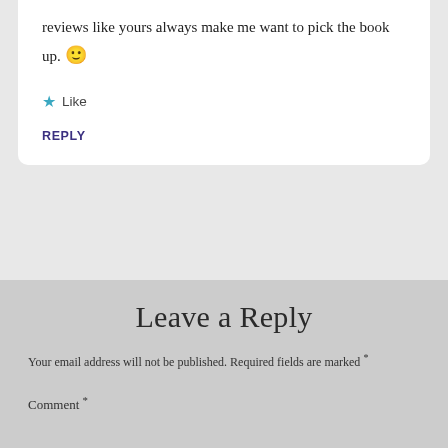reviews like yours always make me want to pick the book up. 🙂
★ Like
REPLY
Leave a Reply
Your email address will not be published. Required fields are marked *
Comment *